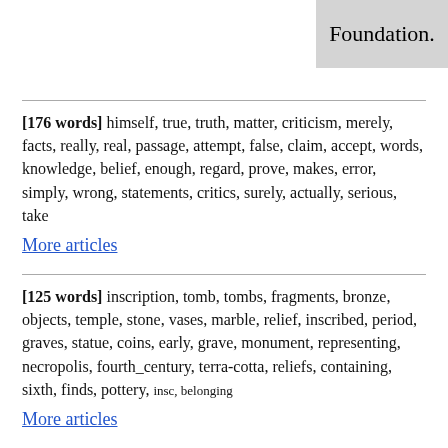Foundation.
[176 words] himself, true, truth, matter, criticism, merely, facts, really, real, passage, attempt, false, claim, accept, words, knowledge, belief, enough, regard, prove, makes, error, simply, wrong, statements, critics, surely, actually, serious, take
More articles
[125 words] inscription, tomb, tombs, fragments, bronze, objects, temple, stone, vases, marble, relief, inscribed, period, graves, statue, coins, early, grave, monument, representing, necropolis, fourth_century, terra-cotta, reliefs, containing, sixth, finds, pottery, insc, belonging
More articles
[60 words] passage, sense, text, meaning, sentence, words, word, reading, phrase, line, mean, translation, clause, context, lines, follows, editors